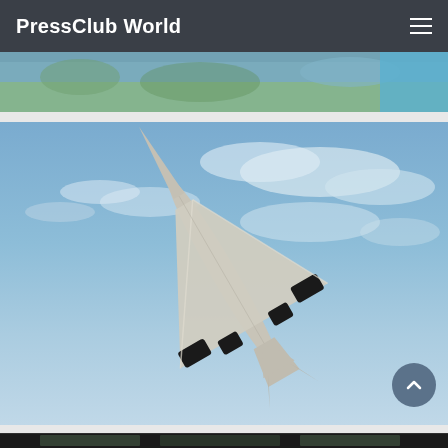PressClub World
[Figure (photo): Partial view of a photo at the top, showing an outdoor scene with blue tones — cropped strip at top of page]
[Figure (photo): Aerial bottom-up photograph of a Concorde supersonic passenger jet aircraft against a blue cloudy sky. The aircraft is shown from below with its distinctive delta wing shape and pointed nose.]
[Figure (photo): Interior cockpit view of an aircraft, showing the cockpit windows and instrumentation from inside, partially cropped at the bottom of the page.]